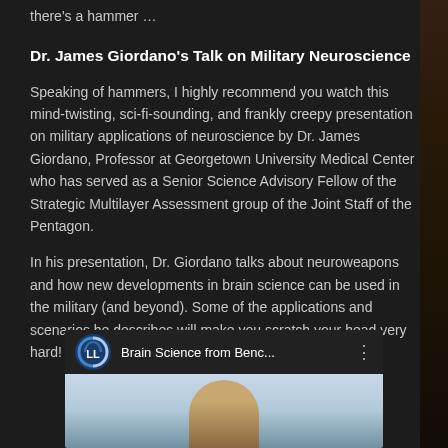there's a hammer …
Dr. James Giordano's Talk on Military Neuroscience
Speaking of hammers, I highly recommend you watch this mind-twisting, sci-fi-sounding, and frankly creepy presentation on military applications of neuroscience by Dr. James Giordano, Professor at Georgetown University Medical Center who has served as a Senior Science Advisory Fellow of the Strategic Multilayer Assessment group of the Joint Staff of the Pentagon.
In his presentation, Dr. Giordano talks about neuroweapons and how new developments in brain science can be used in the military (and beyond). Some of the applications and scenarios he describes will make you scratch your head very hard!
[Figure (screenshot): YouTube video thumbnail for 'Brain Science from Benc...' featuring a logo with stylized letter L and a preview image of a speaker]